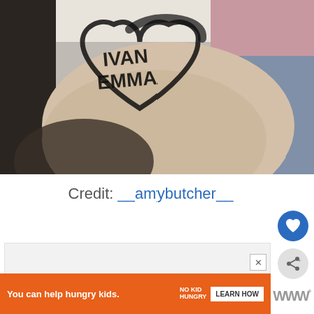[Figure (photo): A forearm tattoo showing the names IVAN and EMMA written in bold brush-style lettering inside a large heart outline, in black ink on skin.]
Credit: __amybutcher__
[Figure (infographic): Orange advertisement banner: 'You can help hungry kids.' with No Kid Hungry logo and LEARN HOW button. Accompanied by a close (X) button above it. To the right, a W logo with degree symbol.]